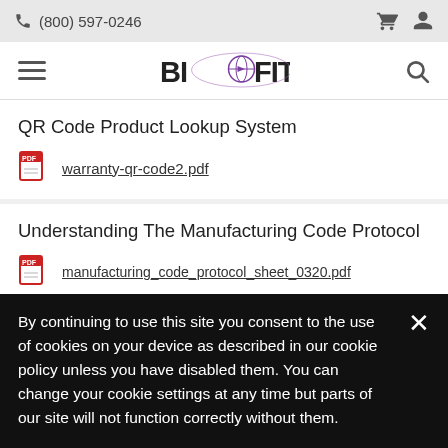(800) 597-0246
[Figure (logo): BIOFIT logo with globe icon]
QR Code Product Lookup System
warranty-qr-code2.pdf
Understanding The Manufacturing Code Protocol
manufacturing_code_protocol_sheet_0320.pdf
By continuing to use this site you consent to the use of cookies on your device as described in our cookie policy unless you have disabled them. You can change your cookie settings at any time but parts of our site will not function correctly without them.